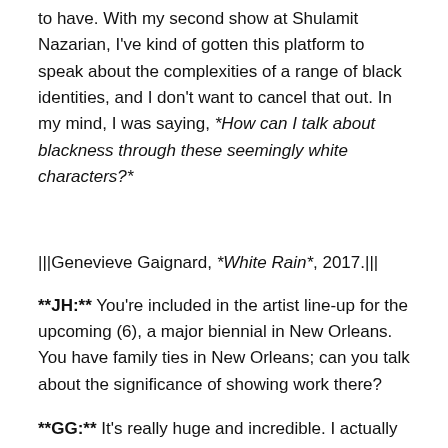to have. With my second show at Shulamit Nazarian, I've kind of gotten this platform to speak about the complexities of a range of black identities, and I don't want to cancel that out. In my mind, I was saying, *How can I talk about blackness through these seemingly white characters?*
|||Genevieve Gaignard, *White Rain*, 2017.|||
**JH:** You're included in the artist line-up for the upcoming (6), a major biennial in New Orleans. You have family ties in New Orleans; can you talk about the significance of showing work there?
**GG:** It's really huge and incredible. I actually haven't spent a lot of time there. I went a handful of times to visit relatives